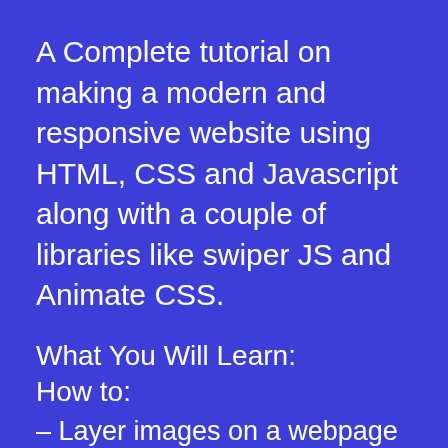A Complete tutorial on making a modern and responsive website using HTML, CSS and Javascript along with a couple of libraries like swiper JS and Animate CSS.
What You Will Learn:
How to:
– Layer images on a webpage and create some beautiful effects
– Animate HTML elements on scroll with Animate.CSS and Wow.js
– Responsive Design
– Make your menu bar with a modal...